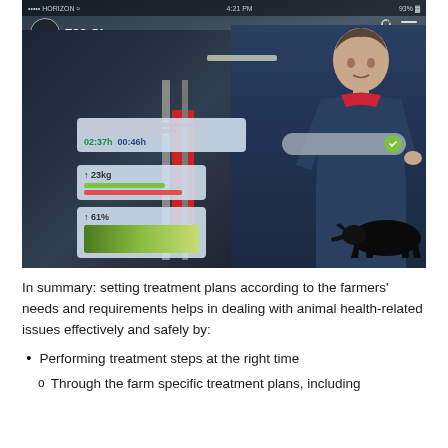[Figure (photo): Screenshot of a farm management app showing a farmer in blue overalls standing in a barn with dairy cows. App UI overlays show animal ID 733 Clara with data panels showing milking time (02:37h, 00:46h), weight (23kg), and percentage (61%) with charts and progress bars. A green circle icon shows a cow silhouette. Phone status bar shows HORIZON, 4:21 PM, 93% battery.]
In summary: setting treatment plans according to the farmers' needs and requirements helps in dealing with animal health-related issues effectively and safely by:
Performing treatment steps at the right time
Through the farm specific treatment plans, including